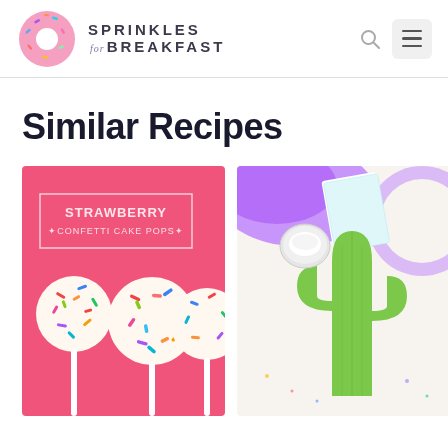Sprinkles for Breakfast
Similar Recipes
[Figure (photo): Strawberry Confetti Cake Pops - colorful sprinkle-covered cake pops on sticks against a pink background with text overlay]
[Figure (photo): A green ceramic cactus-shaped serving dish on a white surface with purple napkins, plates, and colorful party supplies]